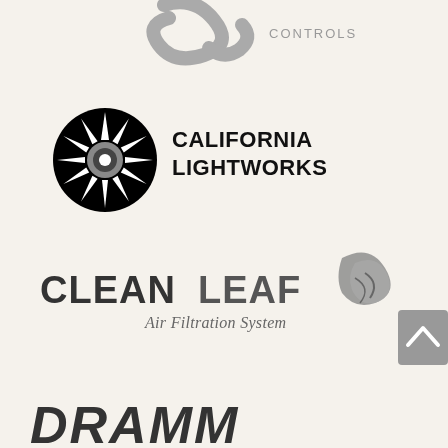[Figure (logo): Partial logo at top – curved snake/scroll shape with 'CONTROLS' text in gray, partially cropped]
[Figure (logo): California Lightworks logo – black starburst/sun circle icon on the left, bold black text 'CALIFORNIA LIGHTWORKS' on the right]
[Figure (logo): CleanLeaf Air Filtration System logo – 'CLEAN' in dark bold, 'LEAF' in lighter bold with stylized leaf/wind graphic, 'Air Filtration System' in italic below]
[Figure (logo): Partial bold italic logo text at bottom, dark gray/black, partially cropped – appears to be 'DRAMM' or similar brand name]
[Figure (logo): Gray scroll-up button/arrow in the far right middle area of the page]